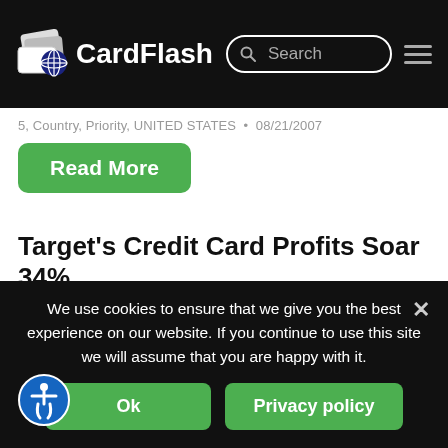CardFlash
5, Country, Priority, UNITED STATES • 08/21/2007
Read More
Target's Credit Card Profits Soar 34%
5, Country, Priority, UNITED STATES • 08/21/2007
Read More
CB Economic Indicator Points North
We use cookies to ensure that we give you the best experience on our website. If you continue to use this site we will assume that you are happy with it.
Ok
Privacy policy